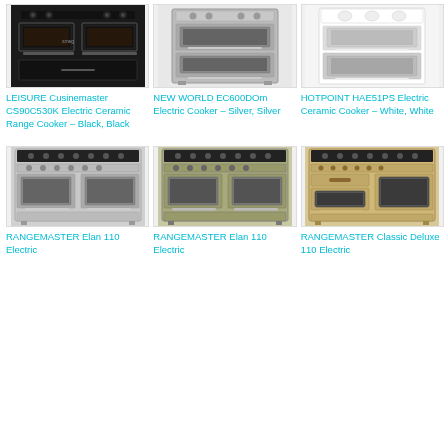[Figure (photo): LEISURE Cusinemaster CS90C530K electric ceramic range cooker in black]
LEISURE Cusinemaster CS90C530K Electric Ceramic Range Cooker – Black, Black
[Figure (photo): NEW WORLD EC600DOm electric cooker in silver]
NEW WORLD EC600DOm Electric Cooker – Silver, Silver
[Figure (photo): HOTPOINT HAE51PS electric ceramic cooker in white]
HOTPOINT HAE51PS Electric Ceramic Cooker – White, White
[Figure (photo): RANGEMASTER Elan 110 electric range cooker in silver]
RANGEMASTER Elan 110 Electric
[Figure (photo): RANGEMASTER Elan 110 electric range cooker in olive/green]
RANGEMASTER Elan 110 Electric
[Figure (photo): RANGEMASTER Classic Deluxe 110 electric range cooker in cream]
RANGEMASTER Classic Deluxe 110 Electric